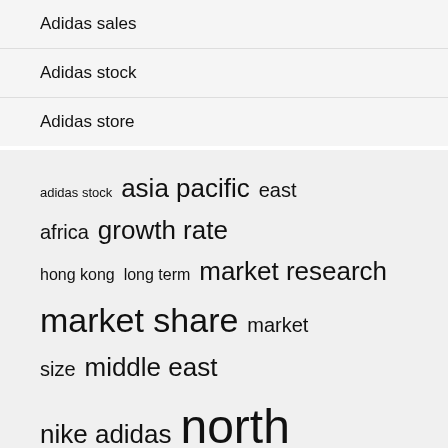Adidas sales
Adidas stock
Adidas store
adidas stock  asia pacific  east africa  growth rate  hong kong  long term  market research  market share  market size  middle east  nike adidas  north america  saudi arabia  south africa  supply chain  united states